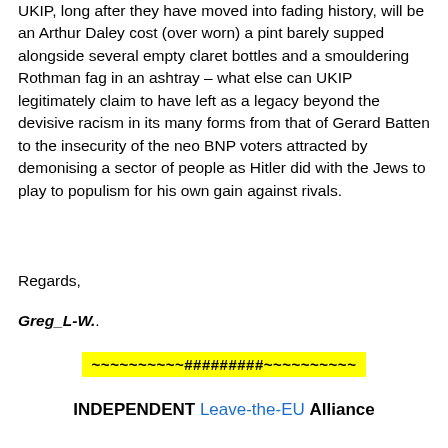UKIP, long after they have moved into fading history, will be an Arthur Daley cost (over worn) a pint barely supped alongside several empty claret bottles and a smouldering Rothman fag in an ashtray – what else can UKIP legitimately claim to have left as a legacy beyond the devisive racism in its many forms from that of Gerard Batten to the insecurity of the neo BNP voters attracted by demonising a sector of people as Hitler did with the Jews to play to populism for his own gain against rivals.
Regards,
Greg_L-W..
~~~~~~~~~~#########~~~~~~~~~~
INDEPENDENT Leave-the-EU Alliance